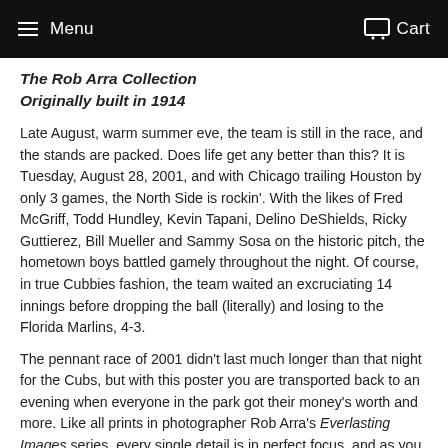Menu   Cart
The Rob Arra Collection
Originally built in 1914
Late August, warm summer eve, the team is still in the race, and the stands are packed. Does life get any better than this? It is Tuesday, August 28, 2001, and with Chicago trailing Houston by only 3 games, the North Side is rockin'. With the likes of Fred McGriff, Todd Hundley, Kevin Tapani, Delino DeShields, Ricky Guttierez, Bill Mueller and Sammy Sosa on the historic pitch, the hometown boys battled gamely throughout the night. Of course, in true Cubbies fashion, the team waited an excruciating 14 innings before dropping the ball (literally) and losing to the Florida Marlins, 4-3.
The pennant race of 2001 didn't last much longer than that night for the Cubs, but with this poster you are transported back to an evening when everyone in the park got their money's worth and more. Like all prints in photographer Rob Arra's Everlasting Images series, every single detail is in perfect focus, and as you pan across the image you feel like you are actually back at